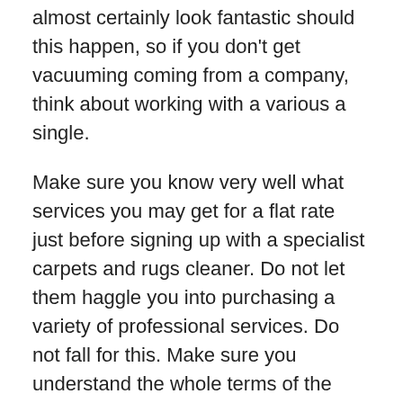almost certainly look fantastic should this happen, so if you don't get vacuuming coming from a company, think about working with a various a single.
Make sure you know very well what services you may get for a flat rate just before signing up with a specialist carpets and rugs cleaner. Do not let them haggle you into purchasing a variety of professional services. Do not fall for this. Make sure you understand the whole terms of the provide in advance and get away from unforeseen expenditure.
Determine if the carpet cleaning business provides any extra professional services that you could be curious about. Numerous rug cleaning organizations also clear upholstery, drapes and may even offer other providers you wish. If you need these services, the retail price could possibly be decrease should they conduct them while they are out washing your rug.
Be sure you ask the company how much it will cost. You